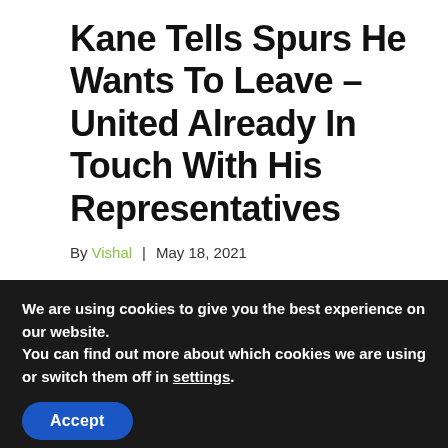Kane Tells Spurs He Wants To Leave – United Already In Touch With His Representatives
By Vishal | May 18, 2021
Harry Kane has once again informed Tottenham Hotspur his desire to leave
We are using cookies to give you the best experience on our website.
You can find out more about which cookies we are using or switch them off in settings.